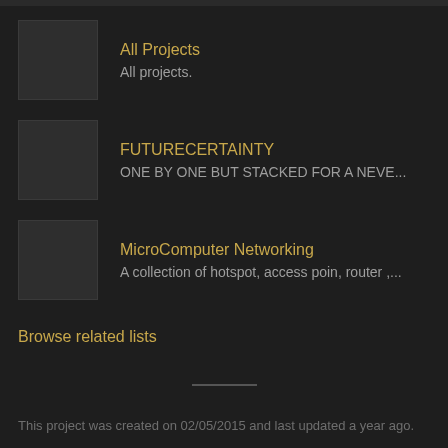All Projects
All projects.
FUTURECERTAINTY
ONE BY ONE BUT STACKED FOR A NEVE...
MicroComputer Networking
A collection of hotspot, access poin, router ,...
Browse related lists
This project was created on 02/05/2015 and last updated a year ago.